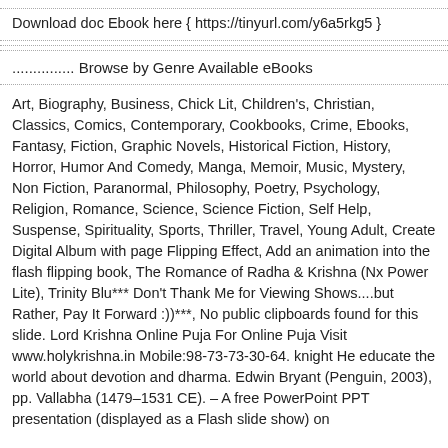Download doc Ebook here { https://tinyurl.com/y6a5rkg5 }
............... Browse by Genre Available eBooks
Art, Biography, Business, Chick Lit, Children's, Christian, Classics, Comics, Contemporary, Cookbooks, Crime, Ebooks, Fantasy, Fiction, Graphic Novels, Historical Fiction, History, Horror, Humor And Comedy, Manga, Memoir, Music, Mystery, Non Fiction, Paranormal, Philosophy, Poetry, Psychology, Religion, Romance, Science, Science Fiction, Self Help, Suspense, Spirituality, Sports, Thriller, Travel, Young Adult, Create Digital Album with page Flipping Effect, Add an animation into the flash flipping book, The Romance of Radha & Krishna (Nx Power Lite), Trinity Blu*** Don't Thank Me for Viewing Shows....but Rather, Pay It Forward :))***, No public clipboards found for this slide. Lord Krishna Online Puja For Online Puja Visit www.holykrishna.in Mobile:98-73-73-30-64. knight He educate the world about devotion and dharma. Edwin Bryant (Penguin, 2003), pp. Vallabha (1479–1531 CE). – A free PowerPoint PPT presentation (displayed as a Flash slide show) on